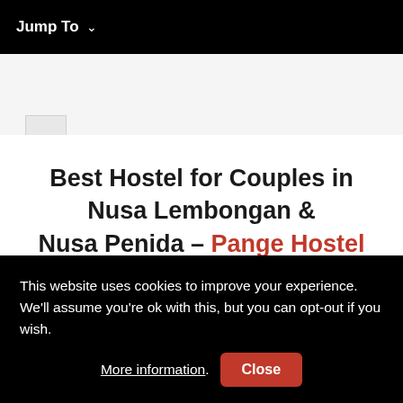Jump To  ∨
[Figure (other): Light gray image placeholder box at top of content area]
Best Hostel for Couples in Nusa Lembongan & Nusa Penida – Pange Hostel
This website uses cookies to improve your experience. We'll assume you're ok with this, but you can opt-out if you wish. More information. Close